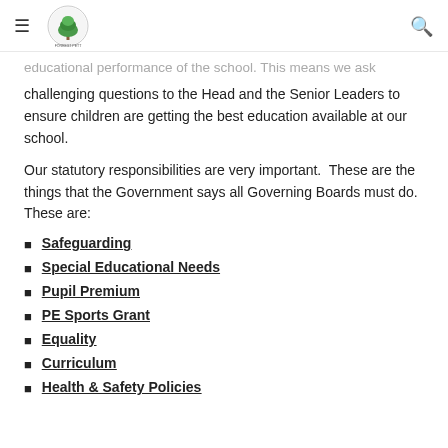Forest Pett Primary School navigation header with hamburger menu and search icon
educational performance of the school. This means we ask challenging questions to the Head and the Senior Leaders to ensure children are getting the best education available at our school.
Our statutory responsibilities are very important. These are the things that the Government says all Governing Boards must do. These are:
Safeguarding
Special Educational Needs
Pupil Premium
PE Sports Grant
Equality
Curriculum
Health & Safety Policies